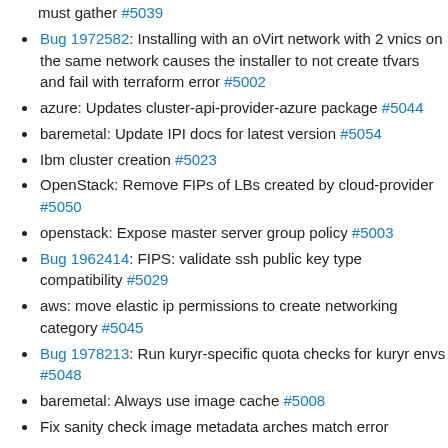must gather #5039
Bug 1972582: Installing with an oVirt network with 2 vnics on the same network causes the installer to not create tfvars and fail with terraform error #5002
azure: Updates cluster-api-provider-azure package #5044
baremetal: Update IPI docs for latest version #5054
Ibm cluster creation #5023
OpenStack: Remove FIPs of LBs created by cloud-provider #5050
openstack: Expose master server group policy #5003
Bug 1962414: FIPS: validate ssh public key type compatibility #5029
aws: move elastic ip permissions to create networking category #5045
Bug 1978213: Run kuryr-specific quota checks for kuryr envs #5048
baremetal: Always use image cache #5008
Fix sanity check image metadata arches match error